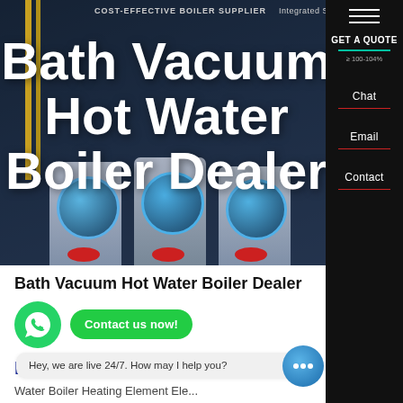[Figure (screenshot): Hero banner showing industrial steam boilers in a dark blue warehouse setting with large white bold text overlay reading 'Bath Vacuum Hot Water Boiler Dealer'. Subtitle reads 'COST-EFFECTIVE BOILER SUPPLIER'. Navigation sidebar on the right in black with Chat, Email, Contact links and GET A QUOTE button.]
Bath Vacuum Hot Water Boiler Dealer
[Figure (logo): WhatsApp green circular icon with phone handset SVG symbol]
Contact us now!
HOT NEWS
Hey, we are live 24/7. How may I help you?
Water Boiler Heating Element Ele...